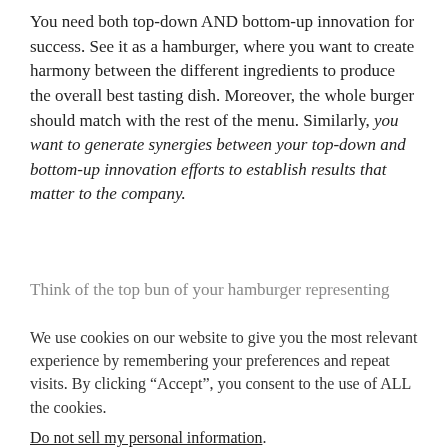You need both top-down AND bottom-up innovation for success. See it as a hamburger, where you want to create harmony between the different ingredients to produce the overall best tasting dish. Moreover, the whole burger should match with the rest of the menu. Similarly, you want to generate synergies between your top-down and bottom-up innovation efforts to establish results that matter to the company.
Think of the top bun of your hamburger representing...
We use cookies on our website to give you the most relevant experience by remembering your preferences and repeat visits. By clicking “Accept”, you consent to the use of ALL the cookies.
Do not sell my personal information.
Cookie settings
ACCEPT